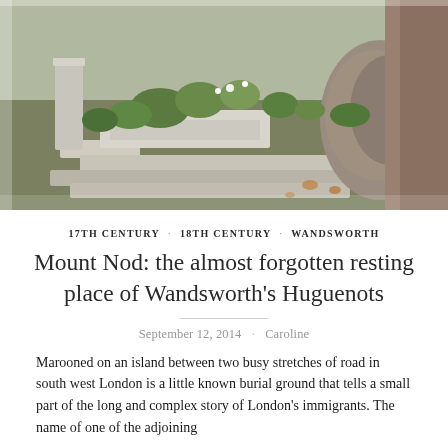[Figure (photo): Photograph of a cemetery or burial ground with old stone grave markers, lush green plants and weeds growing between the stones, and a large tree trunk on the right side. Stone slabs and steps visible in a garden-like overgrown setting.]
17TH CENTURY · 18TH CENTURY · WANDSWORTH
Mount Nod: the almost forgotten resting place of Wandsworth's Huguenots
September 12, 2014 · Caroline
Marooned on an island between two busy stretches of road in south west London is a little known burial ground that tells a small part of the long and complex story of London's immigrants. The name of one of the adjoining